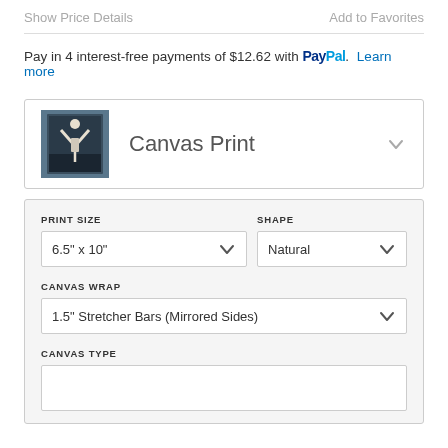Show Price Details
Add to Favorites
Pay in 4 interest-free payments of $12.62 with PayPal. Learn more
Canvas Print
PRINT SIZE
SHAPE
6.5" x 10"
Natural
CANVAS WRAP
1.5" Stretcher Bars (Mirrored Sides)
CANVAS TYPE